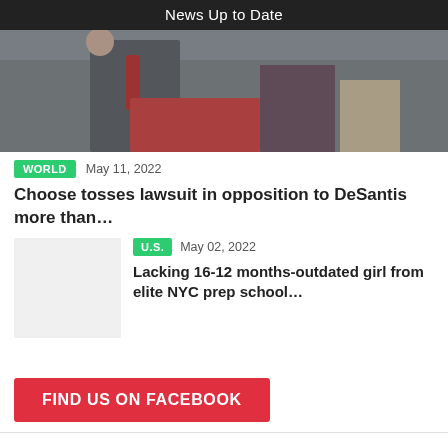News Up to Date
[Figure (photo): Group of people at a public event, one man in a suit with a red tie raising his fist at a podium with a red banner]
WORLD   May 11, 2022
Choose tosses lawsuit in opposition to DeSantis more than…
[Figure (photo): Thumbnail placeholder image (light gray)]
U.S.   May 02, 2022
Lacking 16-12 months-outdated girl from elite NYC prep school…
FIND US ON FACEBOOK